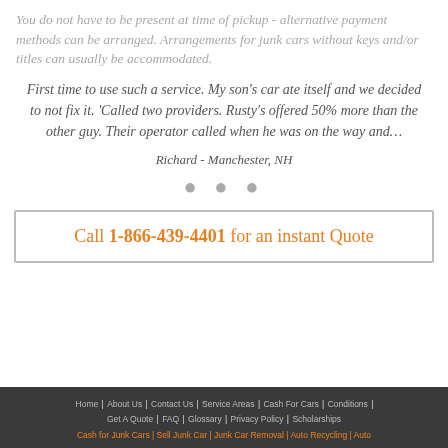You do not have to be present at time of pickup - alternative payment methods can be arranged. Arrangements for junk cars without keys and/or titles can usually be accommodated.
First time to use such a service. My son's car ate itself and we decided to not fix it. 'Called two providers. Rusty's offered 50% more than the other guy. Their operator called when he was on the way and…
Richard - Manchester, NH
Call 1-866-439-4401 for an instant Quote
Home | About Us | Contact Us | Service Areas | Cash For Cars | Conditions | Get A Quote | FAQ | Glossary | Privacy Policy | Scholarships
Cash for Junk Cars | Sell Junk Car | Junk Car Removal | Auto Recycling | Auto